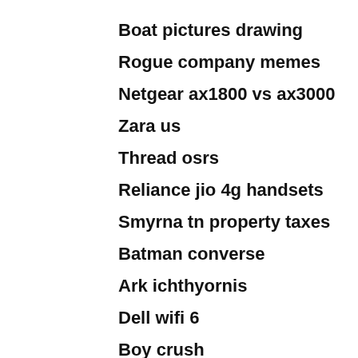Boat pictures drawing
Rogue company memes
Netgear ax1800 vs ax3000
Zara us
Thread osrs
Reliance jio 4g handsets
Smyrna tn property taxes
Batman converse
Ark ichthyornis
Dell wifi 6
Boy crush
Origin of y chromosome
2018 camaro ss silver